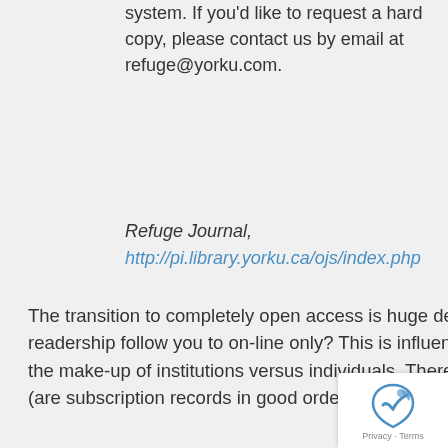system. If you'd like to request a hard copy, please contact us by email at refuge@yorku.com.
Refuge Journal, http://pi.library.yorku.ca/ojs/index.php
The transition to completely open access is huge decision that should not be rushed into. Will your readership follow you to on-line only? This is influenced by the demographics of your readership and the make-up of institutions versus individuals. There are also issues of outstanding subscriptions owed (are subscription records in good order?), developing the message